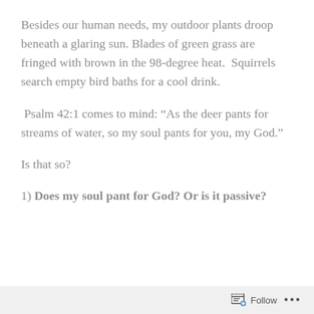Besides our human needs, my outdoor plants droop beneath a glaring sun. Blades of green grass are fringed with brown in the 98-degree heat.  Squirrels search empty bird baths for a cool drink.
Psalm 42:1 comes to mind: “As the deer pants for streams of water, so my soul pants for you, my God.”
Is that so?
1) Does my soul pant for God? Or is it passive?
Follow ...